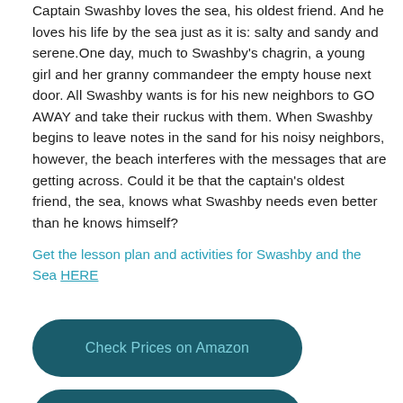Captain Swashby loves the sea, his oldest friend. And he loves his life by the sea just as it is: salty and sandy and serene.One day, much to Swashby's chagrin, a young girl and her granny commandeer the empty house next door. All Swashby wants is for his new neighbors to GO AWAY and take their ruckus with them. When Swashby begins to leave notes in the sand for his noisy neighbors, however, the beach interferes with the messages that are getting across. Could it be that the captain's oldest friend, the sea, knows what Swashby needs even better than he knows himself?
Get the lesson plan and activities for Swashby and the Sea HERE
Check Prices on Amazon